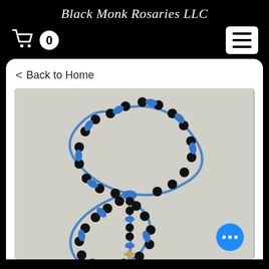Black Monk Rosaries LLC
[Figure (screenshot): E-commerce website screenshot for Black Monk Rosaries LLC showing navigation bar with shopping cart (0 items) and hamburger menu, a back-to-home link, and a product photo of black and blue rosary beads arranged in a figure-8 pattern on a light gray background.]